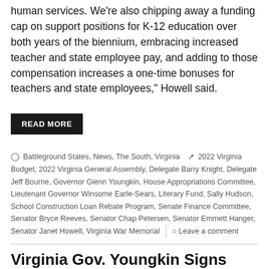human services. We're also chipping away a funding cap on support positions for K-12 education over both years of the biennium, embracing increased teacher and state employee pay, and adding to those compensation increases a one-time bonuses for teachers and state employees," Howell said.
READ MORE
Battleground States, News, The South, Virginia   2022 Virginia Budget, 2022 Virginia General Assembly, Delegate Barry Knight, Delegate Jeff Bourne, Governor Glenn Youngkin, House Appropriations Committee, Lieutenant Governor Winsome Earle-Sears, Literary Fund, Sally Hudson, School Construction Loan Rebate Program, Senate Finance Committee, Senator Bryce Reeves, Senator Chap Petersen, Senator Emmett Hanger, Senator Janet Howell, Virginia War Memorial   Leave a comment
Virginia Gov. Youngkin Signs School Mask-Optional Bill